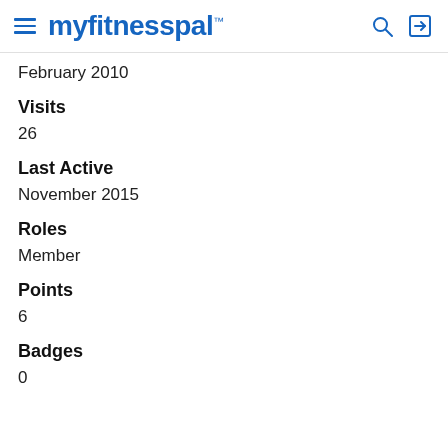myfitnesspal
February 2010
Visits
26
Last Active
November 2015
Roles
Member
Points
6
Badges
0